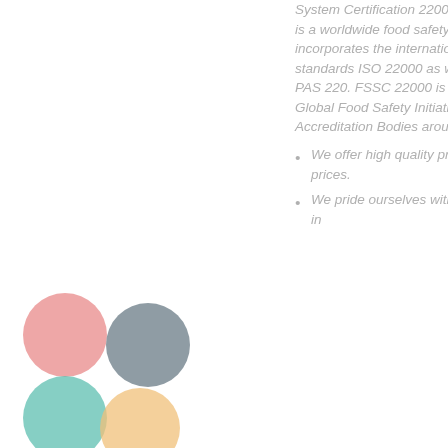System Certification 22000) certified. FSSC 22000 is a worldwide food safety certification scheme that incorporates the international and independent standards ISO 22000 as well as ISO/TS 22002-1 / PAS 220. FSSC 22000 is fully recognized by the Global Food Safety Initiative (GFSI) and Accreditation Bodies around the world.
[Figure (illustration): Four colored circles arranged in a 2x2 grid: top-left pink/salmon circle, top-right steel blue/grey circle, bottom-left teal/mint circle, bottom-right light orange/peach circle.]
We offer high quality products at affordable prices.
We pride ourselves with our focus and flexibility in